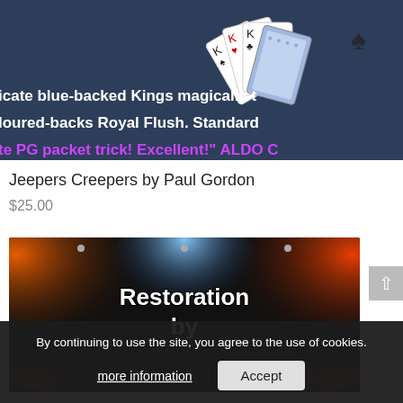[Figure (photo): Top portion of a product listing image showing playing cards (Kings) fanned out on a dark blue background, with text overlays. Text reads: 'icate blue-backed Kings magically t', 'loured-backs Royal Flush. Standard', 'te PG packet trick! Excellent!" ALDO C' (third line in purple/magenta).]
Jeepers Creepers by Paul Gordon
$25.00
[Figure (photo): Product image for 'Restoration by' — dark background with colorful stage spotlights (red/orange on sides, blue in center). Large bold white text reads 'Restoration' on one line and 'by' on the next line.]
By continuing to use the site, you agree to the use of cookies.
more information
Accept